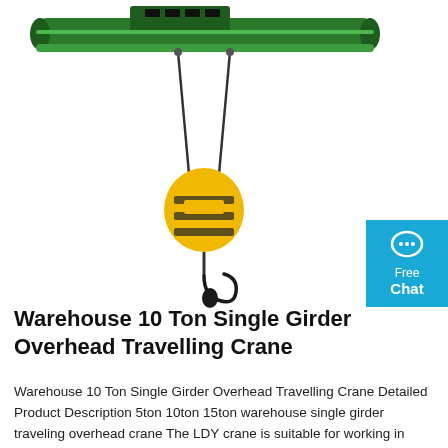[Figure (photo): Photograph of a warehouse single girder overhead travelling crane. A green horizontal girder/beam sits at the top with a motor unit. Two wire ropes hang down from it, connected to a yellow hook block assembly with black safety latches. A dark metal hook hangs at the bottom.]
Warehouse 10 Ton Single Girder Overhead Travelling Crane
Warehouse 10 Ton Single Girder Overhead Travelling Crane Detailed Product Description 5ton 10ton 15ton warehouse single girder traveling overhead crane The LDY crane is suitable for working in working class A6, working environment temperature≤60°C, relative humidity≤85﹪, altitude below 2000m, and non-corrosive medium